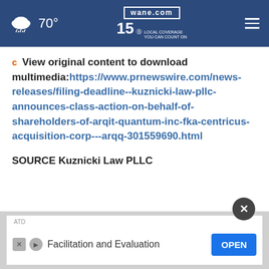70° | wane.com 15 LOCAL COVERAGE YOU CAN COUNT ON
c View original content to download multimedia:https://www.prnewswire.com/news-releases/filing-deadline--kuznicki-law-pllc-announces-class-action-on-behalf-of-shareholders-of-arqit-quantum-inc-fka-centricus-acquisition-corp---arqq-301559690.html
SOURCE Kuznicki Law PLLC
[Figure (screenshot): ATD advertisement banner with text 'Facilitation and Evaluation' and OPEN button]